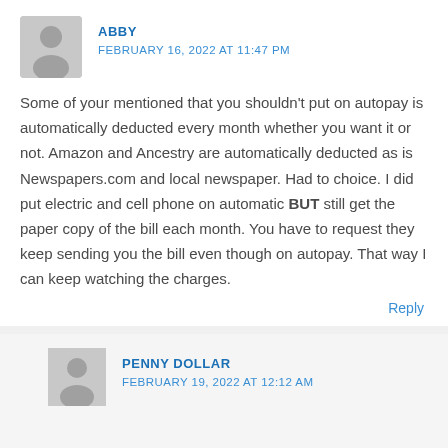ABBY
FEBRUARY 16, 2022 AT 11:47 PM
Some of your mentioned that you shouldn't put on autopay is automatically deducted every month whether you want it or not. Amazon and Ancestry are automatically deducted as is Newspapers.com and local newspaper. Had to choice. I did put electric and cell phone on automatic BUT still get the paper copy of the bill each month. You have to request they keep sending you the bill even though on autopay. That way I can keep watching the charges.
Reply
PENNY DOLLAR
FEBRUARY 19, 2022 AT 12:12 AM